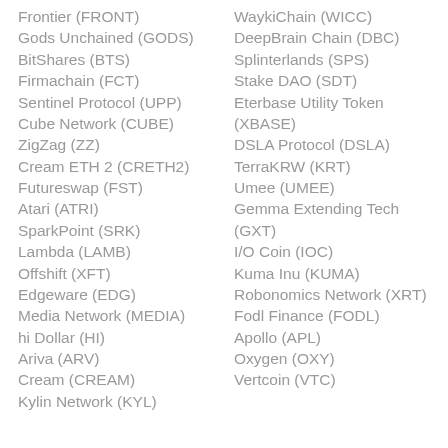Frontier (FRONT)
Gods Unchained (GODS)
BitShares (BTS)
Firmachain (FCT)
Sentinel Protocol (UPP)
Cube Network (CUBE)
ZigZag (ZZ)
Cream ETH 2 (CRETH2)
Futureswap (FST)
Atari (ATRI)
SparkPoint (SRK)
Lambda (LAMB)
Offshift (XFT)
Edgeware (EDG)
Media Network (MEDIA)
hi Dollar (HI)
Ariva (ARV)
Cream (CREAM)
Kylin Network (KYL)
WaykiChain (WICC)
DeepBrain Chain (DBC)
Splinterlands (SPS)
Stake DAO (SDT)
Eterbase Utility Token (XBASE)
DSLA Protocol (DSLA)
TerraKRW (KRT)
Umee (UMEE)
Gemma Extending Tech (GXT)
I/O Coin (IOC)
Kuma Inu (KUMA)
Robonomics Network (XRT)
Fodl Finance (FODL)
Apollo (APL)
Oxygen (OXY)
Vertcoin (VTC)